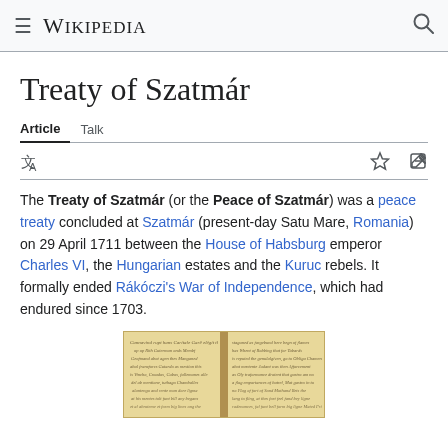Wikipedia
Treaty of Szatmár
Article   Talk
The Treaty of Szatmár (or the Peace of Szatmár) was a peace treaty concluded at Szatmár (present-day Satu Mare, Romania) on 29 April 1711 between the House of Habsburg emperor Charles VI, the Hungarian estates and the Kuruc rebels. It formally ended Rákóczi's War of Independence, which had endured since 1703.
[Figure (photo): Old handwritten document of the Treaty of Szatmár, yellowed paper with cursive script in two columns]